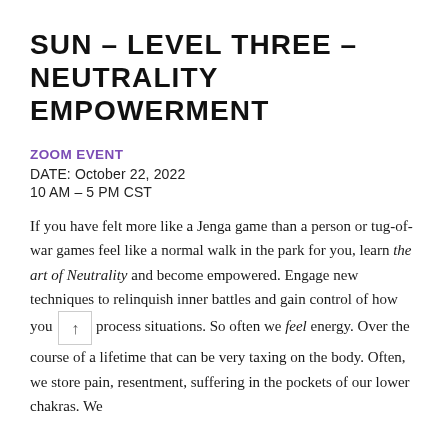SUN – LEVEL THREE – NEUTRALITY EMPOWERMENT
ZOOM EVENT
DATE: October 22, 2022
10 AM – 5 PM CST
If you have felt more like a Jenga game than a person or tug-of-war games feel like a normal walk in the park for you, learn the art of Neutrality and become empowered. Engage new techniques to relinquish inner battles and gain control of how you process situations. So often we feel energy. Over the course of a lifetime that can be very taxing on the body. Often, we store pain, resentment, suffering in the pockets of our lower chakras. We